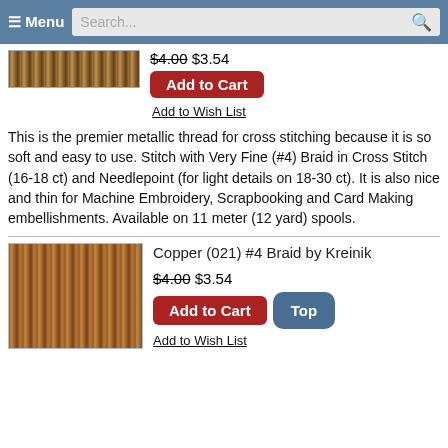☰ Menu   Search...   🔍
$4.00 $3.54
Add to Cart
Add to Wish List
This is the premier metallic thread for cross stitching because it is so soft and easy to use. Stitch with Very Fine (#4) Braid in Cross Stitch (16-18 ct) and Needlepoint (for light details on 18-30 ct). It is also nice and thin for Machine Embroidery, Scrapbooking and Card Making embellishments. Available on 11 meter (12 yard) spools.
[Figure (photo): Copper metallic thread spool close-up texture]
Copper (021) #4 Braid by Kreinik
$4.00 $3.54
Add to Cart
Add to Wish List